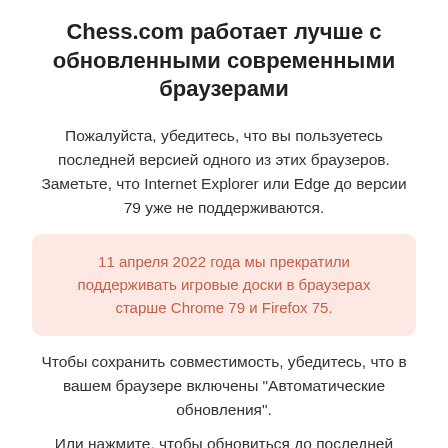Chess.com работает лучше с обновленными современными браузерами
Пожалуйста, убедитесь, что вы пользуетесь последней версией одного из этих браузеров. Заметьте, что Internet Explorer или Edge до версии 79 уже не поддерживаются.
11 апреля 2022 года мы прекратили поддерживать игровые доски в браузерах старше Chrome 79 и Firefox 75.
Чтобы сохранить совместимость, убедитесь, что в вашем браузере включены "Автоматические обновления".
Или нажмите, чтобы обновиться до последней